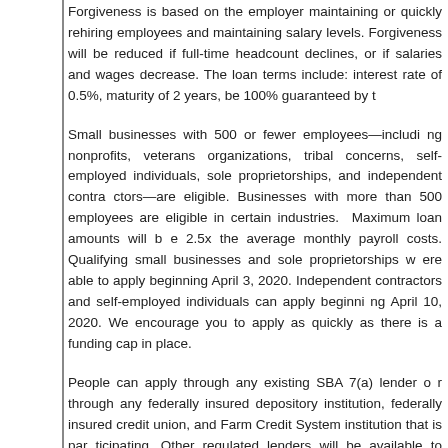Forgiveness is based on the employer maintaining or quickly rehiring employees and maintaining salary levels. Forgiveness will be reduced if full-time headcount declines, or if salaries and wages decrease. The loan terms include: interest rate of 0.5%, maturity of 2 years, be 100% guaranteed by the SBA.
Small businesses with 500 or fewer employees—including nonprofits, veterans organizations, tribal concerns, self-employed individuals, sole proprietorships, and independent contractors—are eligible. Businesses with more than 500 employees are eligible in certain industries. Maximum loan amounts will be 2.5x the average monthly payroll costs. Qualifying small businesses and sole proprietorships were able to apply beginning April 3, 2020. Independent contractors and self-employed individuals can apply beginning April 10, 2020. We encourage you to apply as quickly as there is a funding cap in place.
People can apply through any existing SBA 7(a) lender or through any federally insured depository institution, federally insured credit union, and Farm Credit System institution that is participating. Other regulated lenders will be available to make these loans once they are approved and enrolled in the program. You should consult with your local lender as to whether it is participating. All loans will have the same terms regardless of lender or borrower. A list of participating lenders as well as additional information and full terms can be found at www.sba.gov.
You can find more information on the loans here. You can m
Small Businesses Urged to Apply for SBA Lo
There are still a lot of questions in regards to the impact of